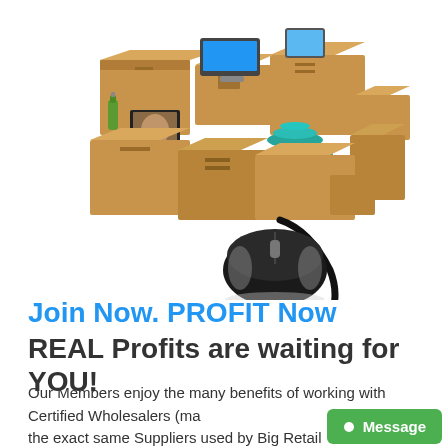[Figure (illustration): A computer mouse connected by a cord to a large pile of cardboard shipping boxes with various items such as electronics, dishes, and a framed photo on top.]
Join Now. PROFIT Now
REAL Profits are waiting for YOU!
Our Members enjoy the many benefits of working with Certified Wholesalers (making the exact same Suppliers used by Big Retail